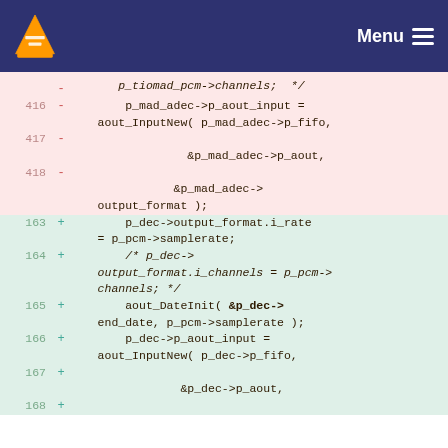[Figure (screenshot): VLC media player website navigation bar with orange cone logo and Menu hamburger button on dark navy background]
p_tiomad_pcm->channels; */
416 - p_mad_adec->p_aout_input = aout_InputNew( p_mad_adec->p_fifo,
417 -                     &p_mad_adec->p_aout,
418 -                     &p_mad_adec->output_format );
163 +         p_dec->output_format.i_rate = p_pcm->samplerate;
164 +         /* p_dec->output_format.i_channels = p_pcm->channels; */
165 +         aout_DateInit( &p_dec->end_date, p_pcm->samplerate );
166 +         p_dec->p_aout_input = aout_InputNew( p_dec->p_fifo,
167 +                     &p_dec->p_aout,
168 +